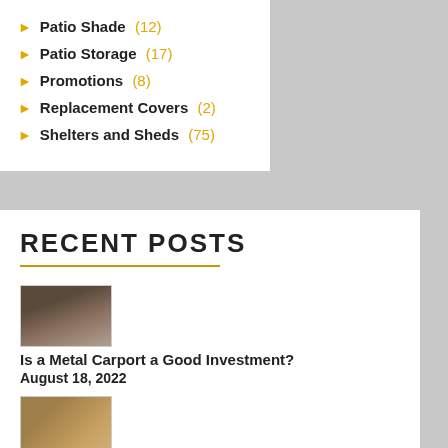Patio Shade (12)
Patio Storage (17)
Promotions (8)
Replacement Covers (2)
Shelters and Sheds (75)
RECENT POSTS
[Figure (photo): Thumbnail image of a metal carport structure]
Is a Metal Carport a Good Investment?
August 18, 2022
[Figure (photo): Thumbnail image of a storage shed]
How to Turn Your Storage Shed Into the Ultimate Man Cave